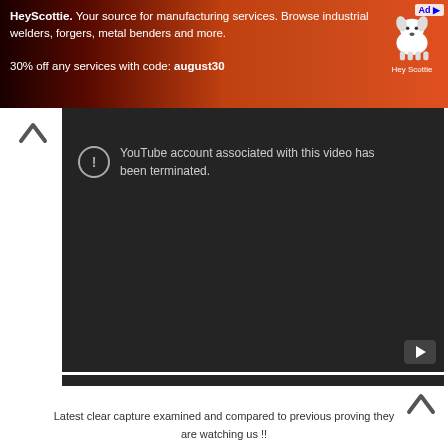[Figure (screenshot): Advertisement banner for HeyScottie manufacturing services with red/orange industrial background and white dog logo. Text: 'HeyScottie. Your source for manufacturing services. Browse industrial welders, forgers, metal benders and more. 30% off any services with code: august30']
[Figure (screenshot): First YouTube embedded video player showing error: 'This video is no longer available because the YouTube account associated with this video has been terminated.' Dark background with YouTube logo icon.]
[Figure (screenshot): Second YouTube embedded video player showing 'Video unavailable' with error message: 'This video is no longer available because the YouTube account associated with this video has been terminated.' Dark background.]
Latest clear capture examined and compared to previous proving they are watching us !!